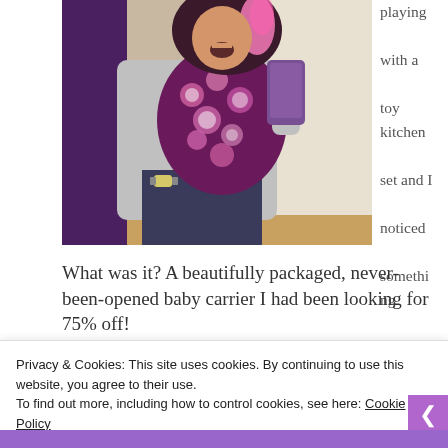[Figure (photo): A person holding a baby in a patterned carrier, taking a mirror selfie. The person has dark hair and pink highlights, wearing a grey long-sleeve shirt and dark pants, with a watch on their wrist. Background shows a door frame and wooden floor.]
playing with a toy kitchen set and I noticed something sitting on top.
What was it? A beautifully packaged, never-been-opened baby carrier I had been looking for 75% off!
Privacy & Cookies: This site uses cookies. By continuing to use this website, you agree to their use.
To find out more, including how to control cookies, see here: Cookie Policy
Close and accept